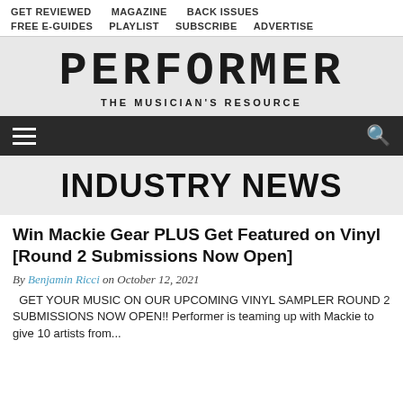GET REVIEWED   MAGAZINE   BACK ISSUES   FREE E-GUIDES   PLAYLIST   SUBSCRIBE   ADVERTISE
[Figure (logo): PERFORMER - THE MUSICIAN'S RESOURCE logo in pixelated/bitmap style font]
[Figure (infographic): Dark navigation bar with hamburger menu icon on left and search icon on right]
INDUSTRY NEWS
Win Mackie Gear PLUS Get Featured on Vinyl [Round 2 Submissions Now Open]
By Benjamin Ricci on October 12, 2021
GET YOUR MUSIC ON OUR UPCOMING VINYL SAMPLER ROUND 2 SUBMISSIONS NOW OPEN!! Performer is teaming up with Mackie to give 10 artists from...